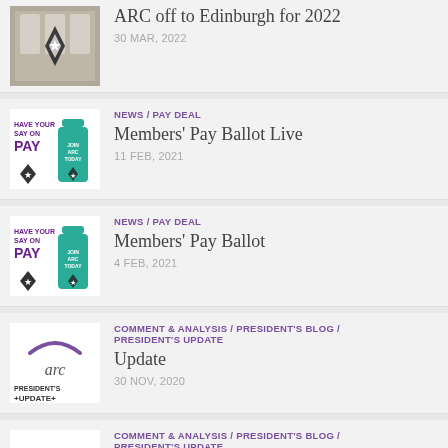[Figure (photo): Thumbnail photo of a building interior with a star diamond shape overlay]
ARC off to Edinburgh for 2022
30 MAR, 2022
[Figure (illustration): Have Your Say On Pay – Join ARC Today promotional image with teal bottle and purple text]
NEWS / PAY DEAL
Members' Pay Ballot Live
11 FEB, 2021
[Figure (illustration): Have Your Say On Pay – Join ARC Today promotional image with teal bottle and purple text]
NEWS / PAY DEAL
Members' Pay Ballot
4 FEB, 2021
[Figure (logo): ARC President's Update logo with arc text and +UPDATE+ underneath]
COMMENT & ANALYSIS / PRESIDENT'S BLOG / PRESIDENT'S UPDATE
Update
30 NOV, 2020
[Figure (logo): ARC President's Update logo with arc text and +UPDATE+ underneath]
COMMENT & ANALYSIS / PRESIDENT'S BLOG / PRESIDENT'S UPDATE
President's Update